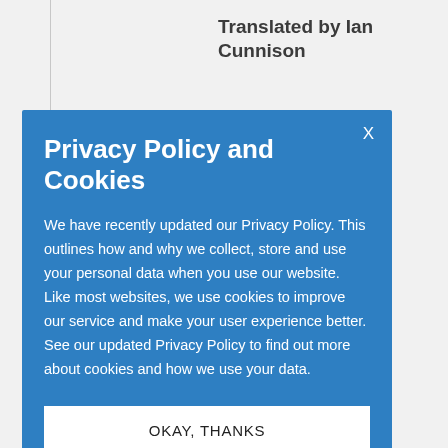Translated by Ian Cunnison
n by E. E. hard
00 /
5739374
bruary 2022
rback
and Stock
Privacy Policy and Cookies
We have recently updated our Privacy Policy. This outlines how and why we collect, store and use your personal data when you use our website. Like most websites, we use cookies to improve our service and make your user experience better. See our updated Privacy Policy to find out more about cookies and how we use your data.
OKAY, THANKS
the
Saving Power of
Education